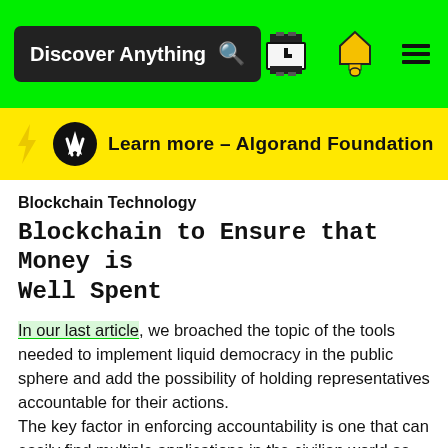Discover Anything [search] [clock icon] [bell icon] [menu icon]
[Figure (infographic): Yellow banner with Algorand logo and text: Learn more – Algorand Foundation]
Blockchain Technology
Blockchain to Ensure that Money is Well Spent
In our last article, we broached the topic of the tools needed to implement liquid democracy in the public sphere and add the possibility of holding representatives accountable for their actions. The key factor in enforcing accountability is one that can easily find multiple applications in the civilian world as well. In fact, starting to apply automatically enforced